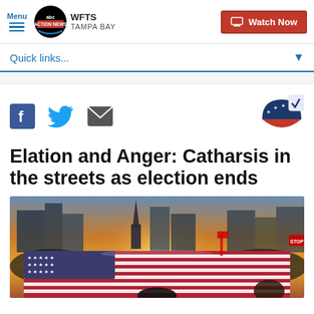Menu | ABC Action News WFTS Tampa Bay | Watch Now
Quick links...
[Figure (logo): Social sharing icons: Facebook (f), Twitter bird, Email envelope; election checkmark badge on right]
Elation and Anger: Catharsis in the streets as election ends
[Figure (photo): Crowd of people in streets holding a large American flag spread wide, with city buildings and setting sun in background. Election protest/celebration scene.]